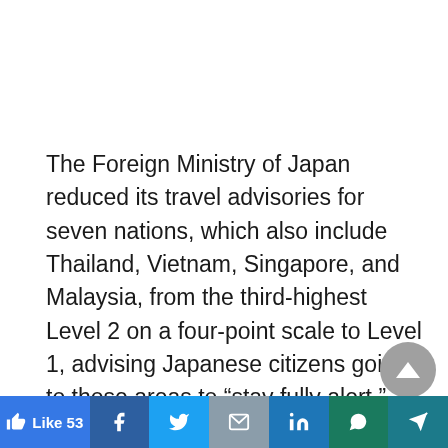The Foreign Ministry of Japan reduced its travel advisories for seven nations, which also include Thailand, Vietnam, Singapore, and Malaysia, from the third-highest Level 2 on a four-point scale to Level 1, advising Japanese citizens going to those areas to “stay fully alert.”
In addition, advisories for another 15 countries and locations were reduced from Level 3 (avoid all
[Figure (other): Social sharing bar with Like (53), Facebook, Twitter, Email, LinkedIn, WhatsApp, and Telegram buttons]